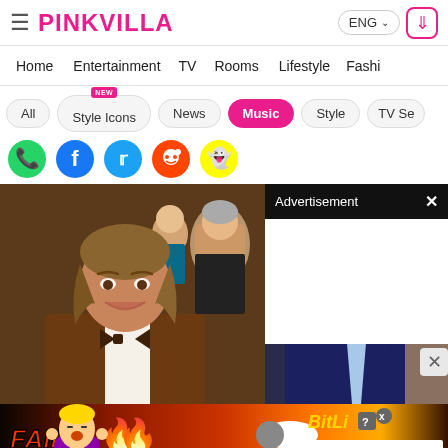PINKVILLA — ENG — Download app
Home | Entertainment | TV | Rooms | Lifestyle | Fashi...
All | Style Icons (NEW) | News | Music (active) | Style | TV Se...
[Figure (screenshot): Social media share icons: WhatsApp, Facebook, Twitter, Reddit, Snapchat]
[Figure (photo): Photo of a man with medium-length hair wearing a brown tuxedo with bow tie, smiling, seated in an audience. Another man in navy suit with light blue tie visible in lower right. Advertisement overlay panel visible on right side with white blank ad area.]
[Figure (screenshot): BitLife mobile game advertisement banner at bottom: FAIL text, cartoon character, flames, BitLife logo in gold, START A NEW LIFE tagline]